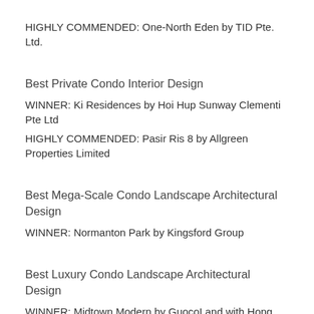HIGHLY COMMENDED: One-North Eden by TID Pte. Ltd.
Best Private Condo Interior Design
WINNER: Ki Residences by Hoi Hup Sunway Clementi Pte Ltd
HIGHLY COMMENDED: Pasir Ris 8 by Allgreen Properties Limited
Best Mega-Scale Condo Landscape Architectural Design
WINNER: Normanton Park by Kingsford Group
Best Luxury Condo Landscape Architectural Design
WINNER: Midtown Modern by GuocoLand with Hong Leong